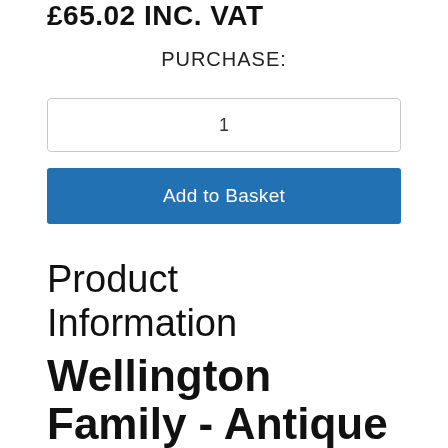£65.02 INC. VAT
PURCHASE:
1
Add to Basket
Product Information
Wellington Family - Antique